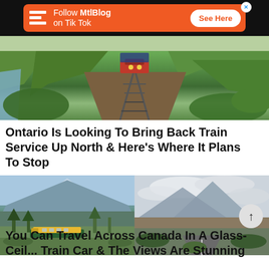[Figure (other): Orange MtlBlog advertisement banner on black background: Follow MtlBlog on Tik Tok with See Here button]
[Figure (photo): Aerial view of a red freight train on railway tracks surrounded by green trees and a river on the left side]
Ontario Is Looking To Bring Back Train Service Up North & Here's Where It Plans To Stop
[Figure (photo): Split image: left side shows a VIA Rail train in a mountain valley with snow-capped peaks; right side shows a cloudy mountain road landscape]
You Can Travel Across Canada In A Glass-Ceiling Train Car & The Views Are Stunning